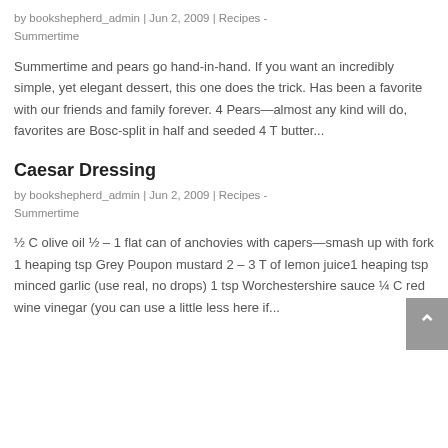by bookshepherd_admin | Jun 2, 2009 | Recipes - Summertime
Summertime and pears go hand-in-hand. If you want an incredibly simple, yet elegant dessert, this one does the trick. Has been a favorite with our friends and family forever. 4 Pears—almost any kind will do, favorites are Bosc-split in half and seeded 4 T butter...
Caesar Dressing
by bookshepherd_admin | Jun 2, 2009 | Recipes - Summertime
½ C olive oil ½ – 1 flat can of anchovies with capers—smash up with fork 1 heaping tsp Grey Poupon mustard 2 – 3 T of lemon juice1 heaping tsp minced garlic (use real, no drops) 1 tsp Worchestershire sauce ¼ C red wine vinegar (you can use a little less here if...